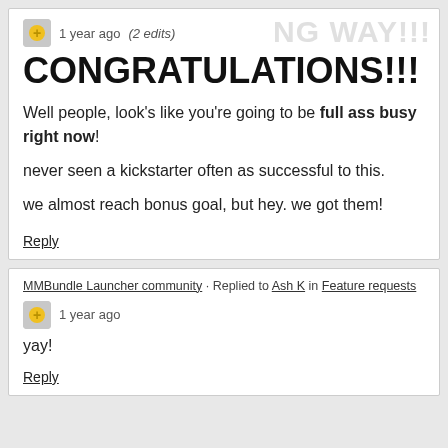1 year ago (2 edits)
CONGRATULATIONS!!!
Well people, look's like you're going to be full ass busy right now!
never seen a kickstarter often as successful to this.
we almost reach bonus goal, but hey. we got them!
Reply
MMBundle Launcher community · Replied to Ash K in Feature requests
1 year ago
yay!
Reply